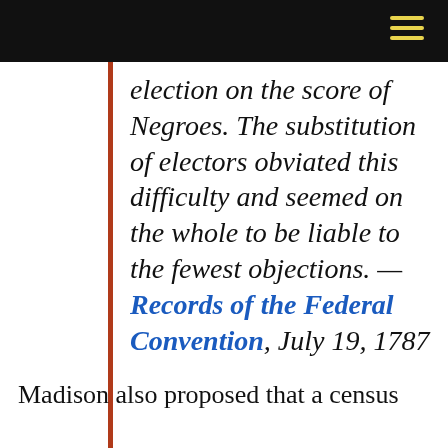election on the score of Negroes. The substitution of electors obviated this difficulty and seemed on the whole to be liable to the fewest objections. — Records of the Federal Convention, July 19, 1787
Madison also proposed that a census